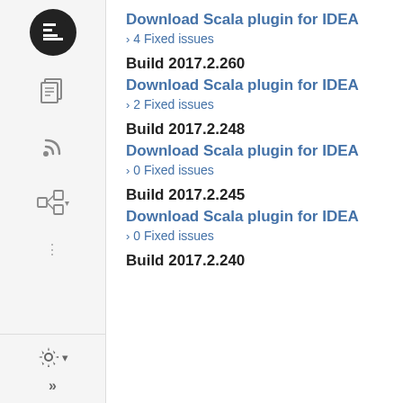[Figure (screenshot): Left sidebar with navigation icons: JetBrains logo, document icon, RSS feed icon, hierarchy/tree icon, dots, gear/settings icon, double-chevron icon]
Download Scala plugin for IDEA
> 4 Fixed issues
Build 2017.2.260
Download Scala plugin for IDEA
> 2 Fixed issues
Build 2017.2.248
Download Scala plugin for IDEA
> 0 Fixed issues
Build 2017.2.245
Download Scala plugin for IDEA
> 0 Fixed issues
Build 2017.2.240